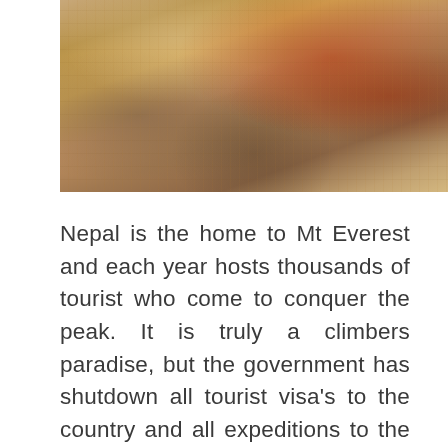[Figure (photo): A person in traditional Nepali/Hindu ceremonial attire with red and gold ornamental clothing and garlands, photographed outdoors with a building visible in the background.]
Nepal is the home to Mt Everest and each year hosts thousands of tourist who come to conquer the peak. It is truly a climbers paradise, but the government has shutdown all tourist visa's to the country and all expeditions to the mountain. Once you can get back on the mountain or in the country, the breathtaking beauty of the land and its people are worth the trek. More importantly Nepal is more than just a mountain, you can go on safari or take in the sites of the capitol city, Kathmandu.